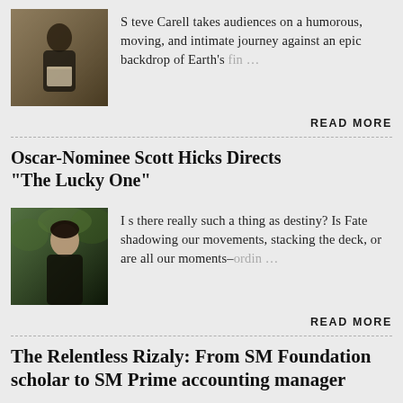[Figure (photo): Photo of a man (Steve Carell) holding a box, standing in a doorway, warm indoor lighting]
S teve Carell takes audiences on a humorous, moving, and intimate journey against an epic backdrop of Earth's fin…
READ MORE
Oscar-Nominee Scott Hicks Directs "The Lucky One"
[Figure (photo): Photo of a young man outdoors, dark hair, looking to the side, green foliage background]
I s there really such a thing as destiny? Is Fate shadowing our movements, stacking the deck, or are all our moments–ordin…
READ MORE
The Relentless Rizaly: From SM Foundation scholar to SM Prime accounting manager